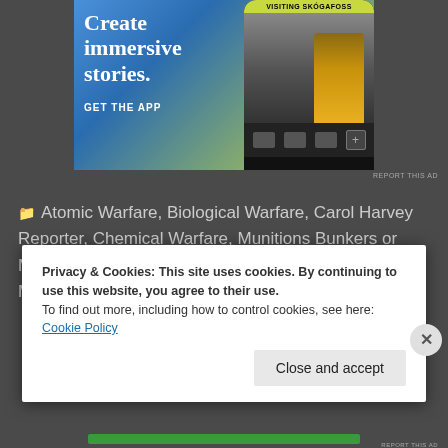[Figure (screenshot): Mobile app advertisement with text 'Create immersive stories.' and 'GET THE APP' showing a phone with a photo editing app and a person at a waterfall labeled 'VISITING SKÓGAFOSS']
REPORT THIS AD
Atomic Warfare, Biological Warfare, Carol Harvey Reporter, Chemical Warfare, Munitions Bunkers or Magazines, TI-MAPS 1988, Training Course, Training Manual
Privacy & Cookies: This site uses cookies. By continuing to use this website, you agree to their use.
To find out more, including how to control cookies, see here: Cookie Policy
Close and accept